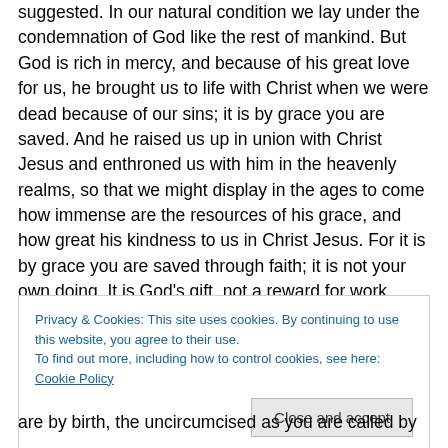suggested.  In our natural condition we lay under the condemnation of God like the rest of mankind.  But God is rich in mercy, and because of his great love for us, he brought us to life with Christ when we were dead because of our sins; it is by grace you are saved.  And he raised us up in union with Christ Jesus and enthroned us with him in the heavenly realms, so that we might display in the ages to come how immense are the resources of his grace, and how great his kindness to us in Christ Jesus.  For it is by grace you are saved through faith; it is not your own doing.  It is God's gift, not a reward for work done.  There is
Privacy & Cookies: This site uses cookies. By continuing to use this website, you agree to their use. To find out more, including how to control cookies, see here: Cookie Policy
Close and accept
are by birth,  the uncircumcised  as you are called by